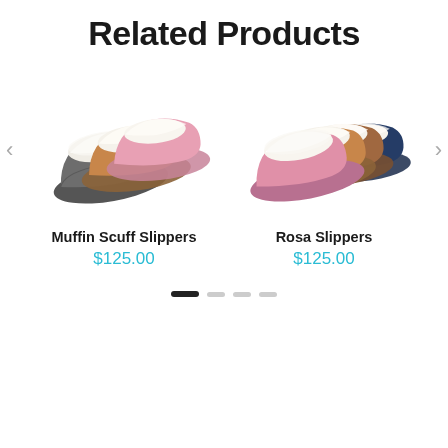Related Products
[Figure (photo): Group of Muffin Scuff Slippers in multiple colors: grey, tan/chestnut, and pink, arranged in a fan/stack display]
Muffin Scuff Slippers
$125.00
[Figure (photo): Group of Rosa Slippers in multiple colors: pink, tan/chestnut, brown, and navy, arranged in a fan/stack display]
Rosa Slippers
$125.00